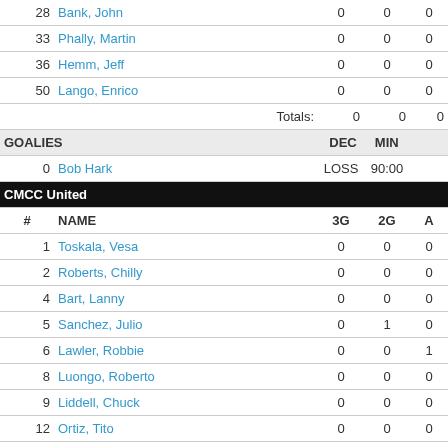| # | NAME | 3G | 2G | A |
| --- | --- | --- | --- | --- |
| 28 | Bank, John | 0 | 0 | 0 |
| 33 | Phally, Martin | 0 | 0 | 0 |
| 36 | Hemm, Jeff | 0 | 0 | 0 |
| 50 | Lango, Enrico | 0 | 0 | 0 |
|  | Totals: | 0 | 0 | 0 |
| GOALIES |  | DEC | MIN |  |
| 0 | Bob Hark | LOSS | 90:00 |  |
| CMCC United |  |  |  |  |
| # | NAME | 3G | 2G | A |
| 1 | Toskala, Vesa | 0 | 0 | 0 |
| 2 | Roberts, Chilly | 0 | 0 | 0 |
| 4 | Bart, Lanny | 0 | 0 | 0 |
| 5 | Sanchez, Julio | 0 | 1 | 0 |
| 6 | Lawler, Robbie | 0 | 0 | 1 |
| 8 | Luongo, Roberto | 0 | 0 | 0 |
| 9 | Liddell, Chuck | 0 | 0 | 0 |
| 12 | Ortiz, Tito | 0 | 0 | 0 |
| 15 | Gretzky, Wayne | 0 | 0 | 0 |
| 17 | Demitra, Pavol | 0 | 0 | 0 |
| 24 | Messier, Mark | 0 | 0 | 1 |
| 26 | Bulis, Jan | 0 | 0 | 0 |
| 47 | Adams, Aaron | 0 | 0 | 0 |